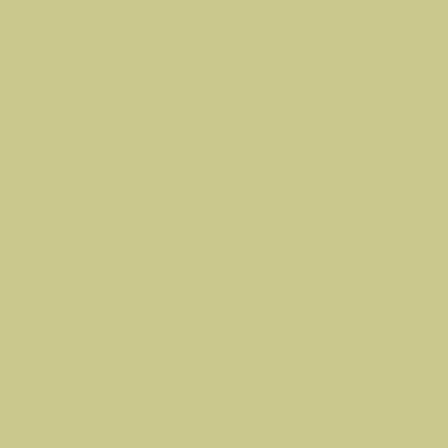[Figure (other): Solid olive/khaki green colored rectangle occupying the left portion of the page]
of Tuba Demba Sama, W CRR South and Kuntaur total of 60 farmers, mostl the training. The main ob trainings were to create a amongst rice farmers, im and productivity and enc individuals in the targete system. Delivering the op doubles as SRI facilitator Agricultural Productivity SRI technique, the proje terms of yield, GCAV pro Station Manager Sambo introduced to SRI plantin technique. He, therefore, opportune to be part of th the Department of Agricu Gambian researcher, two She further explained tha project all showed that S Agriculture official in co hectare of conventional p produces 4 to 8 tons per